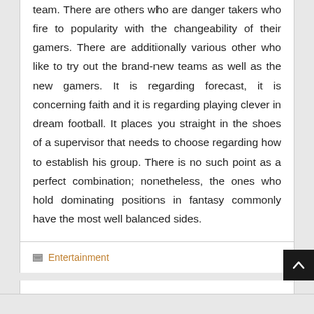team. There are others who are danger takers who fire to popularity with the changeability of their gamers. There are additionally various other who like to try out the brand-new teams as well as the new gamers. It is regarding forecast, it is concerning faith and it is regarding playing clever in dream football. It places you straight in the shoes of a supervisor that needs to choose regarding how to establish his group. There is no such point as a perfect combination; nonetheless, the ones who hold dominating positions in fantasy commonly have the most well balanced sides.
Entertainment